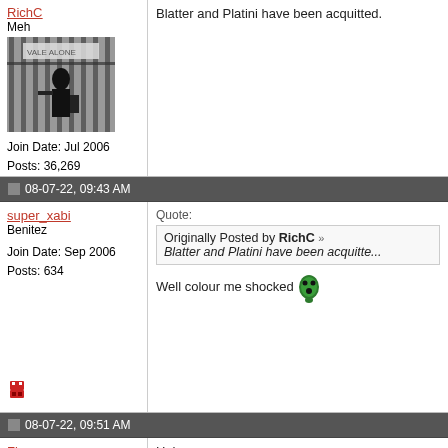RichC
Meh
Join Date: Jul 2006
Posts: 36,269
[Figure (photo): Black and white photo of a person standing in front of a gate, possibly a stadium entrance]
Blatter and Platini have been acquitted.
08-07-22, 09:43 AM
super_xabi
Benitez
Join Date: Sep 2006
Posts: 634
Quote:
Originally Posted by RichC
Blatter and Platini have been acquitted.

Well colour me shocked
08-07-22, 09:51 AM
Fivex
The Wisp
Haha
Hello mert